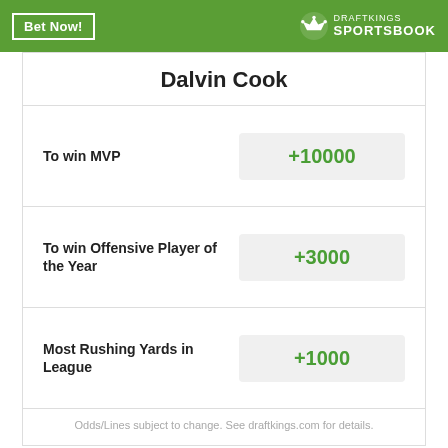[Figure (logo): DraftKings Sportsbook green banner with Bet Now button and DraftKings crown logo]
Dalvin Cook
| Bet Type | Odds |
| --- | --- |
| To win MVP | +10000 |
| To win Offensive Player of the Year | +3000 |
| Most Rushing Yards in League | +1000 |
Odds/Lines subject to change. See draftkings.com for details.
MORE FROM DAILY NORSEMAN
San Francisco 49ers at Minnesota Vikings preseason: Second half discussion
Andrew Booth Jr. injured against 49ers